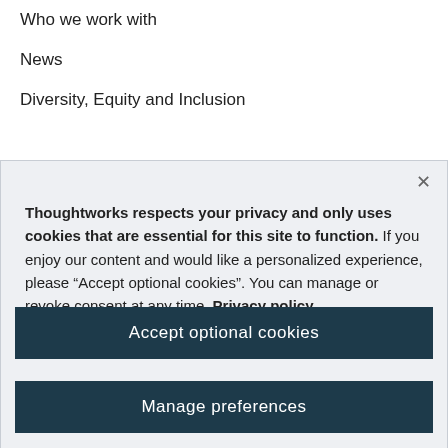Who we work with
News
Diversity, Equity and Inclusion
Thoughtworks respects your privacy and only uses cookies that are essential for this site to function. If you enjoy our content and would like a personalized experience, please “Accept optional cookies”. You can manage or revoke consent at any time. Privacy policy
Accept optional cookies
Manage preferences